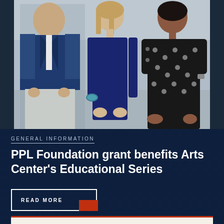[Figure (photo): Three people standing together outdoors — a man in a navy blazer with gray pants on the left, a woman in a navy sleeveless dress with a teal bracelet in the center, and a woman in a black polka-dot dress on the right]
GENERAL INFORMATION
PPL Foundation grant benefits Arts Center's Educational Series
READ MORE